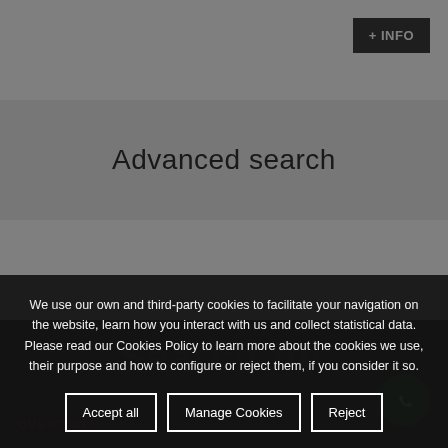+ INFO
Advanced search
QUESTION?
We use our own and third-party cookies to facilitate your navigation on the website, learn how you interact with us and collect statistical data. Please read our Cookies Policy to learn more about the cookies we use, their purpose and how to configure or reject them, if you consider it so.
Accept all | Manage Cookies | Reject